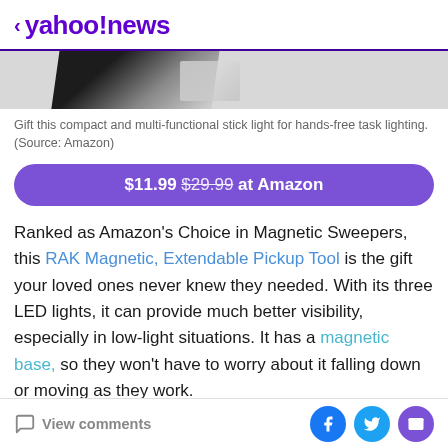< yahoo!news
[Figure (photo): Partial view of a dark/black object (stick light or similar product) against white background]
Gift this compact and multi-functional stick light for hands-free task lighting. (Source: Amazon)
$11.99 $29.99 at Amazon
Ranked as Amazon's Choice in Magnetic Sweepers, this RAK Magnetic, Extendable Pickup Tool is the gift your loved ones never knew they needed. With its three LED lights, it can provide much better visibility, especially in low-light situations. It has a magnetic base, so they won't have to worry about it falling down or moving as they work.
View comments